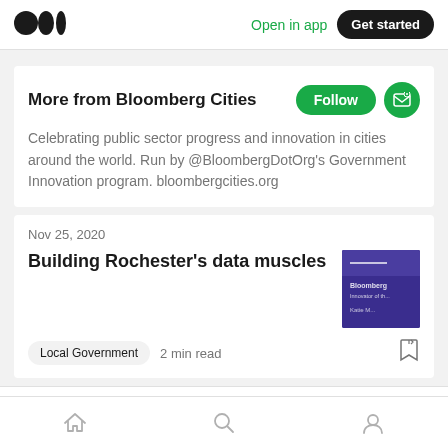Medium logo | Open in app | Get started
More from Bloomberg Cities
Celebrating public sector progress and innovation in cities around the world. Run by @BloombergDotOrg's Government Innovation program. bloombergcities.org
Nov 25, 2020
Building Rochester's data muscles
Local Government  2 min read
Share your ideas with millions of readers.
Home | Search | Profile